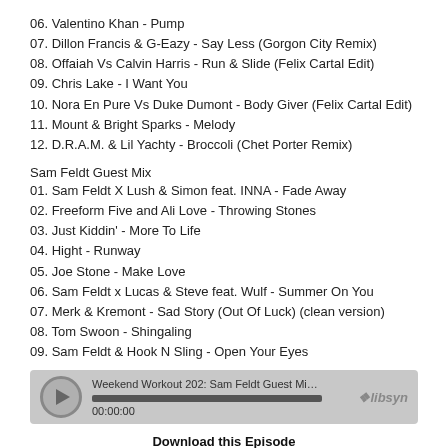06. Valentino Khan - Pump
07. Dillon Francis & G-Eazy - Say Less (Gorgon City Remix)
08. Offaiah Vs Calvin Harris - Run & Slide (Felix Cartal Edit)
09. Chris Lake - I Want You
10. Nora En Pure Vs Duke Dumont - Body Giver (Felix Cartal Edit)
11. Mount & Bright Sparks - Melody
12. D.R.A.M. & Lil Yachty - Broccoli (Chet Porter Remix)
Sam Feldt Guest Mix
01. Sam Feldt X Lush & Simon feat. INNA - Fade Away
02. Freeform Five and Ali Love - Throwing Stones
03. Just Kiddin' - More To Life
04. Hight - Runway
05. Joe Stone - Make Love
06. Sam Feldt x Lucas & Steve feat. Wulf - Summer On You
07. Merk & Kremont - Sad Story (Out Of Luck) (clean version)
08. Tom Swoon - Shingaling
09. Sam Feldt & Hook N Sling - Open Your Eyes
[Figure (screenshot): Audio player widget showing 'Weekend Workout 202: Sam Feldt Guest Mix: This is my p...' with play button, progress bar, timestamp 00:00:00, and libsyn logo]
Download this Episode